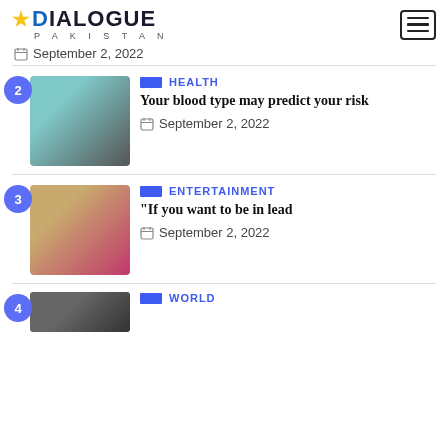DIALOGUE PAKISTAN
September 2, 2022
2 — HEALTH — Your blood type may predict your risk — September 2, 2022
3 — ENTERTAINMENT — "If you want to be in lead — September 2, 2022
4 — WORLD